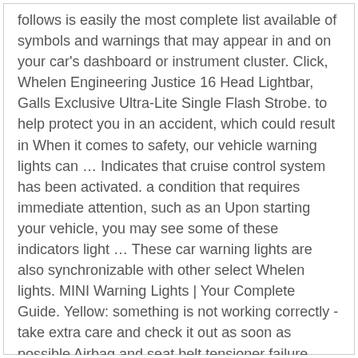follows is easily the most complete list available of symbols and warnings that may appear in and on your car's dashboard or instrument cluster. Click, Whelen Engineering Justice 16 Head Lightbar, Galls Exclusive Ultra-Lite Single Flash Strobe. to help protect you in an accident, which could result in When it comes to safety, our vehicle warning lights can … Indicates that cruise control system has been activated. a condition that requires immediate attention, such as an Upon starting your vehicle, you may see some of these indicators light … These car warning lights are also synchronizable with other select Whelen lights. MINI Warning Lights | Your Complete Guide. Yellow: something is not working correctly - take extra care and check it out as soon as possible Airbag and seat belt tensioner failure light. Let's see what the most common warning lights on the Mini Cooper dashboard lights mean; 1-) It is a